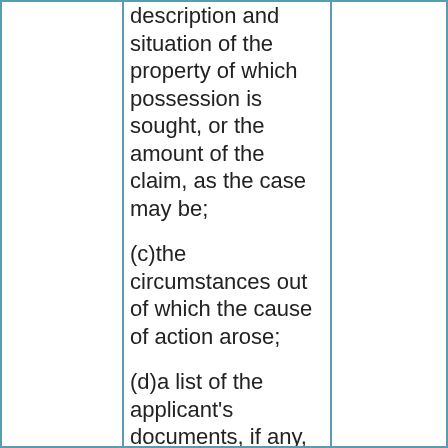description and situation of the property of which possession is sought, or the amount of the claim, as the case may be;
(c)the circumstances out of which the cause of action arose;
(d)a list of the applicant's documents, if any, and his witnesses, and whether such witnesses are to be summoned to